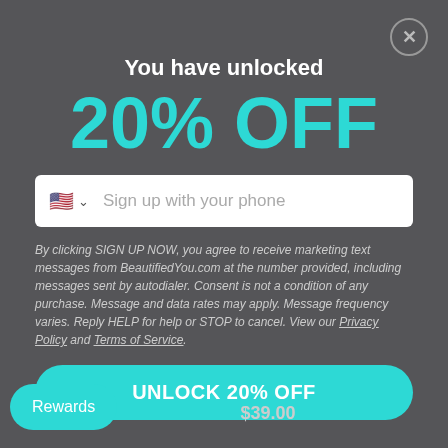[Figure (screenshot): Close button (X in circle) in top right corner of modal]
You have unlocked
20% OFF
[Figure (other): Phone number input field with US flag, dropdown chevron, and placeholder text 'Sign up with your phone']
By clicking SIGN UP NOW, you agree to receive marketing text messages from BeautifiedYou.com at the number provided, including messages sent by autodialer. Consent is not a condition of any purchase. Message and data rates may apply. Message frequency varies. Reply HELP for help or STOP to cancel. View our Privacy Policy and Terms of Service.
UNLOCK 20% OFF
$39.00
Rewards